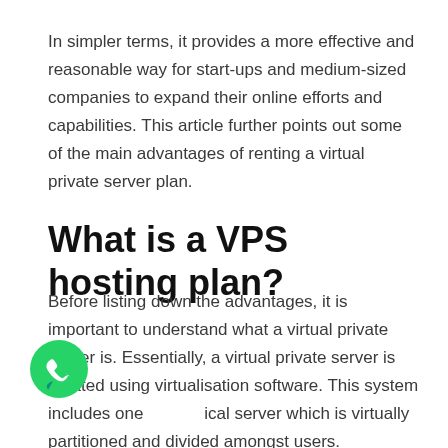In simpler terms, it provides a more effective and reasonable way for start-ups and medium-sized companies to expand their online efforts and capabilities. This article further points out some of the main advantages of renting a virtual private server plan.
What is a VPS hosting plan?
Before listing down the advantages, it is important to understand what a virtual private server is. Essentially, a virtual private server is created using virtualisation software. This system includes one physical server which is virtually partitioned and divided amongst users.
[Figure (illustration): WhatsApp icon — green circle with white phone handset symbol]